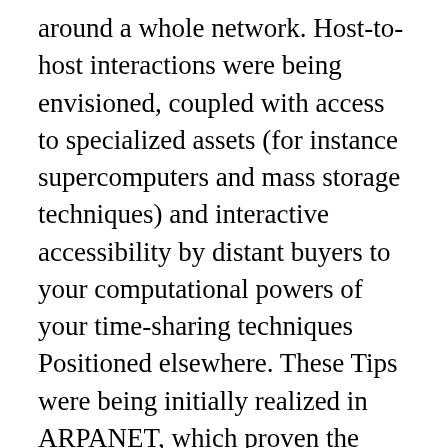around a whole network. Host-to-host interactions were being envisioned, coupled with access to specialized assets (for instance supercomputers and mass storage techniques) and interactive accessibility by distant buyers to your computational powers of your time-sharing techniques Positioned elsewhere. These Tips were being initially realized in ARPANET, which proven the very first host-to-host network relationship on Oct 29, 1969. It absolutely was established with the Highly developed Analysis Assignments Company (ARPA) of the U.S. Office of Defense. ARPANET was among the initially basic purpose Laptop or...